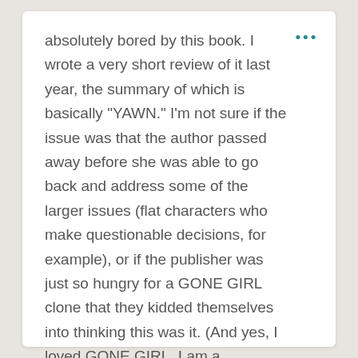absolutely bored by this book. I wrote a very short review of it last year, the summary of which is basically “YAWN.” I’m not sure if the issue was that the author passed away before she was able to go back and address some of the larger issues (flat characters who make questionable decisions, for example), or if the publisher was just so hungry for a GONE GIRL clone that they kidded themselves into thinking this was it. (And yes, I loved GONE GIRL. I am a shameless Gillian Flynn fan.)
★ Like